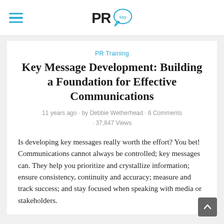PRsay
PR Training
Key Message Development: Building a Foundation for Effective Communications
11 years ago • by Debbie Wetherhead • 6 Comments • 37,847 Views
Is developing key messages really worth the effort? You bet! Communications cannot always be controlled; key messages can. They help you prioritize and crystallize information; ensure consistency, continuity and accuracy; measure and track success; and stay focused when speaking with media or stakeholders.